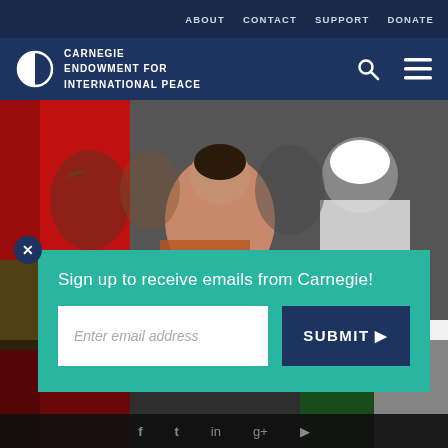ABOUT  CONTACT  SUPPORT  DONATE
[Figure (logo): Carnegie Endowment for International Peace logo — circular half-filled globe icon in white on dark blue, with text CARNEGIE ENDOWMENT FOR INTERNATIONAL PEACE]
[Figure (photo): Crowd scene with people holding red Moroccan flag and green/white Algerian flag; young woman in foreground, man in white cap to right]
Sign up to receive emails from Carnegie!
Enter email address
SUBMIT ▶